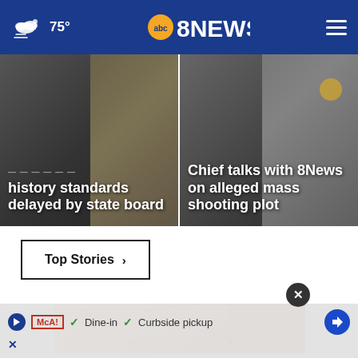75° abc8NEWS
[Figure (screenshot): News card left: history standards delayed by state board]
[Figure (screenshot): News card right: Chief talks with 8News on alleged mass shooting plot]
Top Stories ›
[Figure (photo): Close-up photo of skin with a mole, hand examining it]
[Figure (screenshot): Advertisement banner: play button, McAlister's logo, Dine-in, Curbside pickup, navigation arrow, close button]